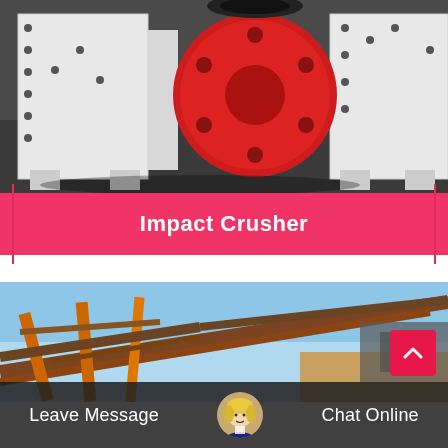[Figure (photo): Photo of a white impact crusher machine with a red flywheel/pulley, sitting on a dark concrete floor in an industrial setting]
Impact Crusher
[Figure (photo): Photo of industrial conveyor belt / screening equipment with orange steel structures against a light blue sky background]
Leave Message
Chat Online